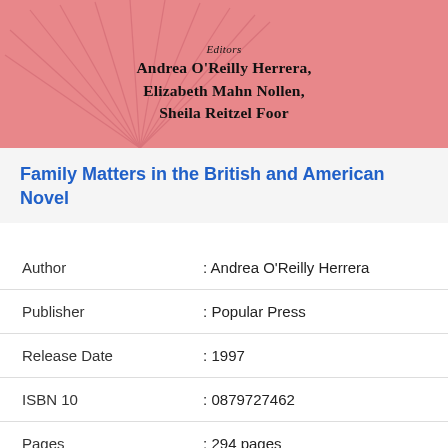[Figure (illustration): Book cover with pink/salmon background showing editor names: Andrea O'Reilly Herrera, Elizabeth Mahn Nollen, Sheila Reitzel Foor, with decorative palm leaf design]
Family Matters in the British and American Novel
| Author | : Andrea O'Reilly Herrera |
| Publisher | : Popular Press |
| Release Date | : 1997 |
| ISBN 10 | : 0879727462 |
| Pages | : 294 pages |
| Rating | : 4.7/5 (274 users) |